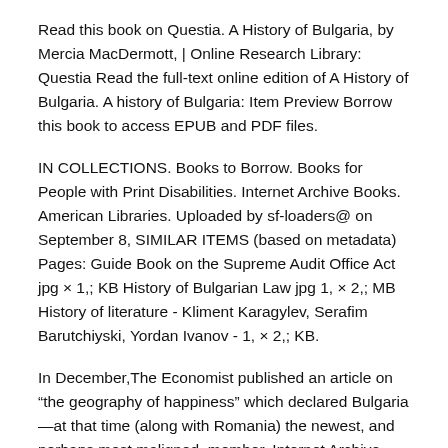Read this book on Questia. A History of Bulgaria, by Mercia MacDermott, | Online Research Library: Questia Read the full-text online edition of A History of Bulgaria. A history of Bulgaria: Item Preview Borrow this book to access EPUB and PDF files.
IN COLLECTIONS. Books to Borrow. Books for People with Print Disabilities. Internet Archive Books. American Libraries. Uploaded by sf-loaders@ on September 8, SIMILAR ITEMS (based on metadata) Pages: Guide Book on the Supreme Audit Office Act jpg × 1,; KB History of Bulgarian Law jpg 1, × 2,; MB History of literature - Kliment Karagylev, Serafim Barutchiyski, Yordan Ivanov - 1, × 2,; KB.
In December,The Economist published an article on “the geography of happiness” which declared Bulgaria—at that time (along with Romania) the newest, and perhaps most maligned, member. Internet Archive BookReader The Balkans: a history of Bulgaria, Serbia, Greece, Rumania, Turkey.
eBooks - Language: Bulgarian - Download free eBooks or read books online for free. Discover new authors and their books in our eBook